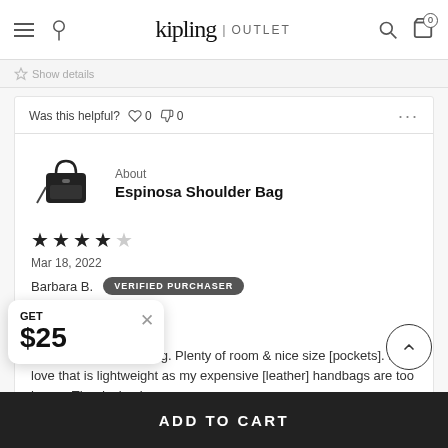kipling | OUTLET
Show details
Was this helpful? ♡ 0 △ 0 ...
[Figure (photo): Espinosa Shoulder Bag product thumbnail - small black handbag]
About
Espinosa Shoulder Bag
★★★★★ (4 stars)
Mar 18, 2022
Barbara B.  VERIFIED PURCHASER
Love it!!!!
It's a very nice handbag. Plenty of room & nice size [pockets]. I love that is lightweight as my expensive [leather] handbags are too heavy. The design is per[fect]
GET $25
ADD TO CART